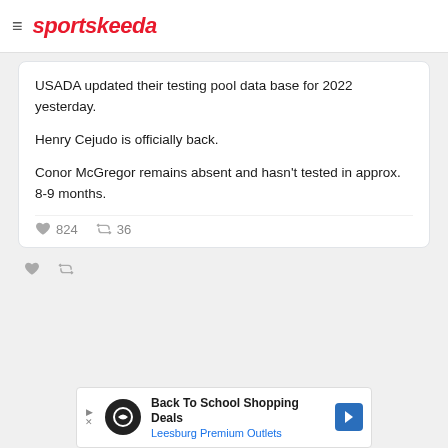sportskeeda
USADA updated their testing pool data base for 2022 yesterday.

Henry Cejudo is officially back.

Conor McGregor remains absent and hasn't tested in approx. 8-9 months.
[Figure (screenshot): Tweet engagement icons: heart (824 likes) and retweet (36 retweets)]
[Figure (screenshot): Bottom tweet action icons: heart and retweet]
[Figure (infographic): Advertisement banner: Back To School Shopping Deals - Leesburg Premium Outlets]